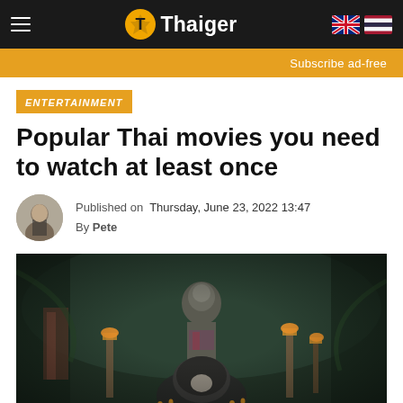Thaiger
Subscribe ad-free
ENTERTAINMENT
Popular Thai movies you need to watch at least once
Published on Thursday, June 23, 2022 13:47 By Pete
[Figure (photo): Dark cinematic photo showing a stone statue in a jungle setting with candles and marigold offerings, with a hooded figure in the foreground — scene from a Thai horror/mystery film.]